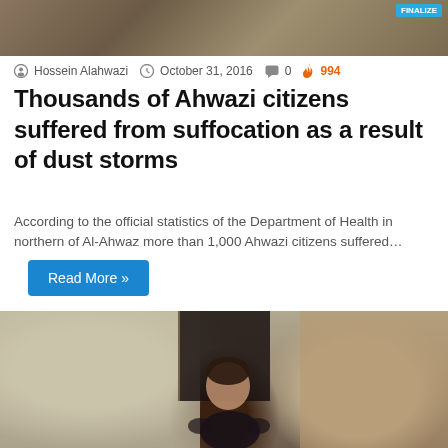[Figure (photo): Top portion of an image showing people, partially cropped, with a blue button/badge in the top right corner]
Hossein Alahwazi  October 31, 2016  0  994
Thousands of Ahwazi citizens suffered from suffocation as a result of dust storms
According to the official statistics of the Department of Health in northern of Al-Ahwaz more than 1,000 Ahwazi citizens suffered…
Read More »
[Figure (photo): A young child standing near a doorway, wearing a dark shirt, looking upward. Background shows a light-colored wall and a door frame.]